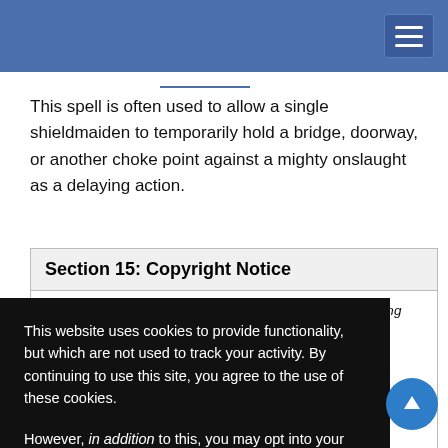This spell is often used to allow a single shieldmaiden to temporarily hold a bridge, doorway, or another choke point against a mighty onslaught as a delaying action.
Section 15: Copyright Notice
Deep Magic. © 2014 Open Design LLC. Authors: Wolfgang Baur, [...]hn, Ross Byers, [...]Jonathan Drain, [...]oves, Amanda [...]o Larwood, Jeff [...], Nicholas [...], Stephen [...]owe, Adam Roy, [...], Joshua Stevens, [...]n Voyce, and
This website uses cookies to provide functionality, but which are not used to track your activity. By continuing to use this site, you agree to the use of these cookies.

However, in addition to this, you may opt into your activity being tracked in order to help us improve our service.

For more information, please click here
OK  No, thank you